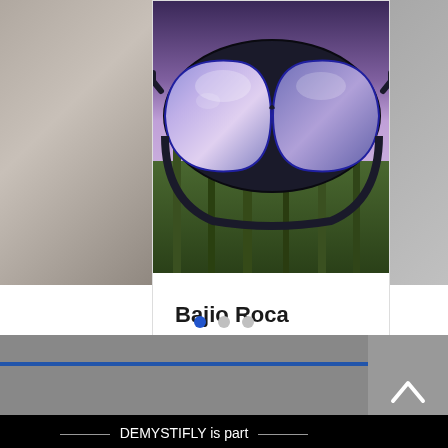[Figure (photo): Photo of Bajio Roca sunglasses viewed from behind against a background of trees and sky with purple/blue reflective lenses]
Bajio Roca Sunglasses Review
39 views, 0 comments, heart/like icon
[Figure (other): Carousel navigation dots: 3 dots with first dot active (blue) and remaining two gray]
DEMYSTIFLY is part of the TackleTour Group